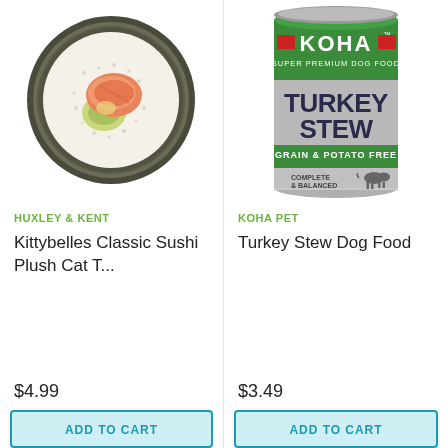[Figure (illustration): Kittybelles Classic Sushi Roll plush cat toy - circular sushi roll viewed from above, showing seaweed wrap, white rice, and salmon/avocado filling]
HUXLEY & KENT
Kittybelles Classic Sushi Plush Cat T...
$4.99
ADD TO CART
[Figure (illustration): KOHA Super Premium Dog Food Turkey Stew Grain & Potato Free can - green and silver metal can with KOHA branding, dog silhouette, Complete & Balanced label]
KOHA PET
Turkey Stew Dog Food
$3.49
ADD TO CART